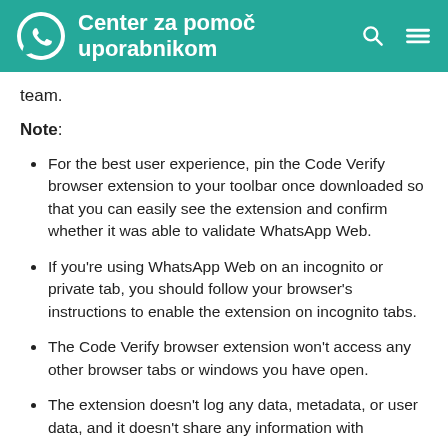Center za pomoč uporabnikom
team.
Note:
For the best user experience, pin the Code Verify browser extension to your toolbar once downloaded so that you can easily see the extension and confirm whether it was able to validate WhatsApp Web.
If you're using WhatsApp Web on an incognito or private tab, you should follow your browser's instructions to enable the extension on incognito tabs.
The Code Verify browser extension won't access any other browser tabs or windows you have open.
The extension doesn't log any data, metadata, or user data, and it doesn't share any information with